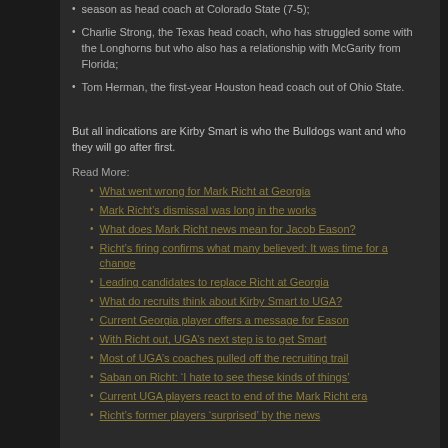season as head coach at Colorado State (7-5);
Charlie Strong, the Texas head coach, who has struggled some with the Longhorns but who also has a relationship with McGarity from Florida;
Tom Herman, the first-year Houston head coach out of Ohio State.
But all indications are Kirby Smart is who the Bulldogs want and who they will go after first.
Read More:
What went wrong for Mark Richt at Georgia
Mark Richt’s dismissal was long in the works
What does Mark Richt news mean for Jacob Eason?
Richt’s firing confirms what many believed: It was time for a change
Leading candidates to replace Richt at Georgia
What do recruits think about Kirby Smart to UGA?
Current Georgia player offers a message for Eason
With Richt out, UGA’s next step is to get Smart
Most of UGA’s coaches pulled off the recruiting trail
Saban on Richt: ‘I hate to see these kinds of things’
Current UGA players react to end of the Mark Richt era
Richt’s former players ‘surprised’ by the news